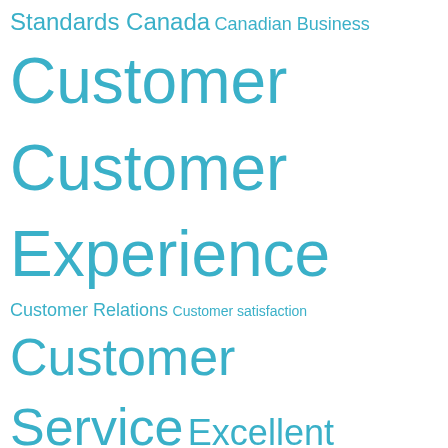[Figure (infographic): Tag cloud with various business and customer service related terms in different font sizes, all in teal/cyan color. Terms include: Standards Canada, Canadian Business, Customer, Customer Experience, Customer Relations, Customer satisfaction, Customer Service, Excellent Customer Service Experience, Explore the World, Family Activities in Toronto, Family Activity, Family Event, Family Vacation, Food, Foodie, Local Business, Market Research, Mystery Shop, Product Quality, Quality, Quality Assurance, Quality Sensors, Quality Management, Restaurant, Restaurants, Retail, Sensors, Sensors Quality Management, Sensors Quality Management Inc, Service, Shop, Shopping, Small Business, Sports, SQM, SQM Inc, SQM]